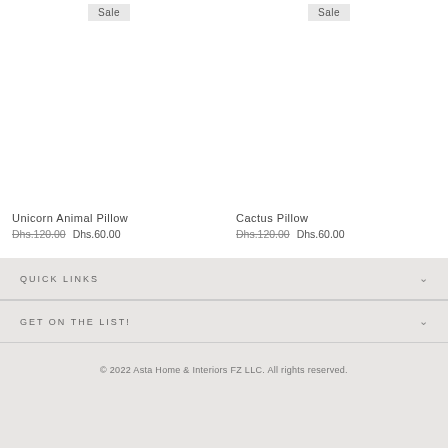Sale
Sale
Unicorn Animal Pillow
Dhs.120.00  Dhs.60.00
Cactus Pillow
Dhs.120.00  Dhs.60.00
QUICK LINKS
GET ON THE LIST!
© 2022 Asta Home & Interiors FZ LLC. All rights reserved.